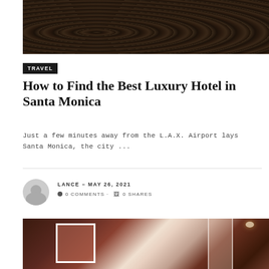[Figure (photo): Dark aerial or close-up photo of sand with footprints, very dark brown tones]
TRAVEL
How to Find the Best Luxury Hotel in Santa Monica
Just a few minutes away from the L.A.X. Airport lays Santa Monica, the city ...
LANCE – MAY 26, 2021
● 0 COMMENTS · 🖻 0 SHARES
[Figure (photo): Interior hotel photo showing dark wood paneling, an art piece/print on the wall, and a partially visible doorway with warm lighting]